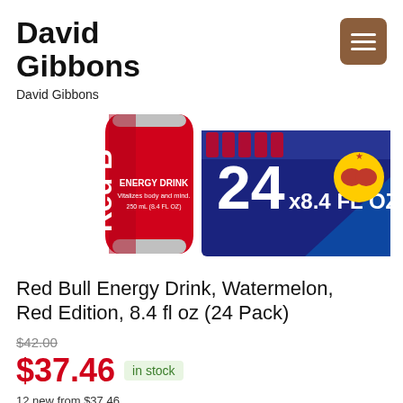David Gibbons
David Gibbons
[Figure (photo): Red Bull Energy Drink can (watermelon/red edition, 250mL) next to a 24-pack box labeled '24 x8.4 FL OZ' with the Red Bull bull logo on a navy blue background.]
Red Bull Energy Drink, Watermelon, Red Edition, 8.4 fl oz (24 Pack)
$42.00
$37.46  in stock
12 new from $37.46